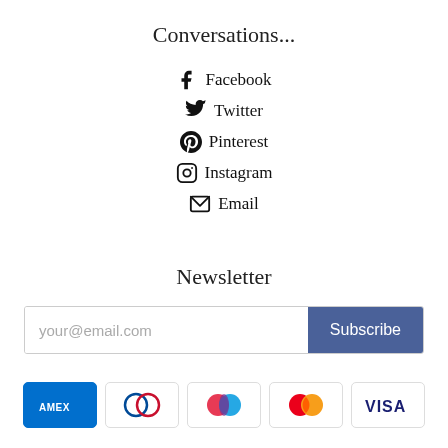Conversations...
Facebook
Twitter
Pinterest
Instagram
Email
Newsletter
your@email.com  Subscribe
[Figure (other): Payment card logos: Amex, Diners Club, Mastercard variant, Mastercard, Visa (partially visible)]